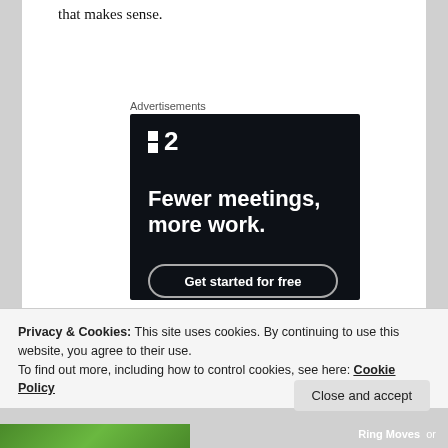that makes sense.
Advertisements
[Figure (infographic): Advertisement for a productivity app showing logo '■2', headline 'Fewer meetings, more work.' and a 'Get started for free' button on dark background.]
Privacy & Cookies: This site uses cookies. By continuing to use this website, you agree to their use.
To find out more, including how to control cookies, see here: Cookie Policy
Close and accept
Ring Moves